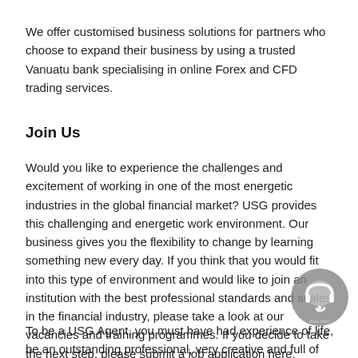We offer customised business solutions for partners who choose to expand their business by using a trusted Vanuatu bank specialising in online Forex and CFD trading services.
Join Us
Would you like to experience the challenges and excitement of working in one of the most energetic industries in the global financial market? USG provides this challenging and energetic work environment. Our business gives you the flexibility to change by learning something new every day. If you think that you would fit into this type of environment and would like to join an institution with the best professional standards and scales in the financial industry, please take a look at our vacancies and training programmes. If you decide to take the next step, please submit a job application here.
To be a USG Agent, you must have had experience of life, be an outstanding professional, very creative and full of